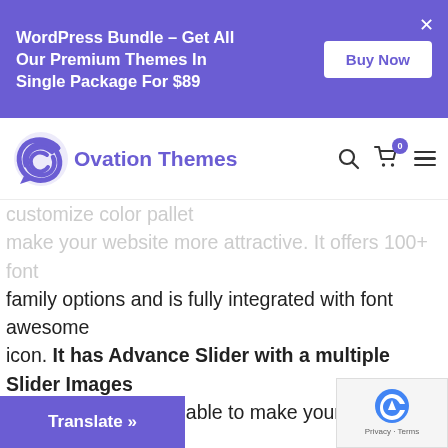WordPress Bundle - Get All Our Premium Themes In Single Package For $89
[Figure (logo): Ovation Themes logo with purple spiral icon and purple text]
family options and is fully integrated with font awesome icon. It has Advance Slider with a multiple Slider Images Upload Option available to make your website more engaging. You get Enable-Disable Options on All Sections, customizable home page with multiple inner page templates. It is WooCommerce compatible so you can easily sell products online and make tr...e.